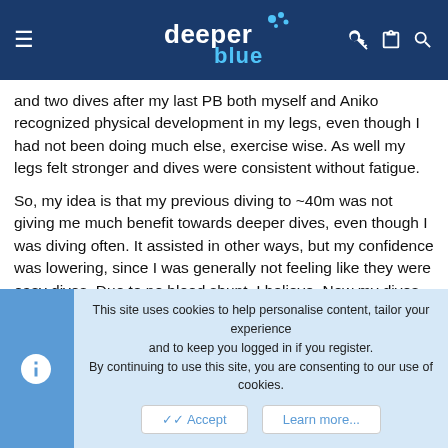DeeperBlue navigation header
and two dives after my last PB both myself and Aniko recognized physical development in my legs, even though I had not been doing much else, exercise wise. As well my legs felt stronger and dives were consistent without fatigue.
So, my idea is that my previous diving to ~40m was not giving me much benefit towards deeper dives, even though I was diving often. It assisted in other ways, but my confidence was lowering, since I was generally not feeling like they were easy dives. Due to no blood shunt, I believe. Now my dives are extremely easy and I think the largest gains are coming from regular deep dives where I reach blood shunt. I believe as well that cross training can achieve the same/similar results, and I am continuing to do so, but truth be told, I would much rather be diving! 😉
This site uses cookies to help personalise content, tailor your experience and to keep you logged in if you register. By continuing to use this site, you are consenting to our use of cookies.